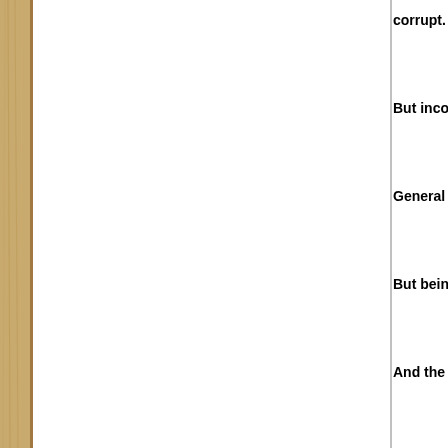corrupt.
But incompete
General comm
But being inco
And the Bad A
* * * * *
Queensland te
you don't beli
Nobody does
that's how the
http://www.ba